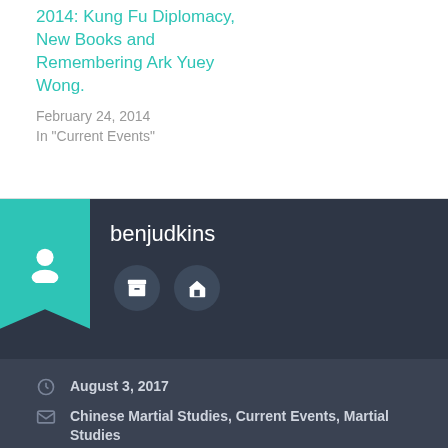2014: Kung Fu Diplomacy, New Books and Remembering Ark Yuey Wong.
February 24, 2014
In "Current Events"
benjudkins
August 3, 2017
Chinese Martial Studies, Current Events, Martial Studies
Chinese Martial Arts, Chinese Martial Arts in the